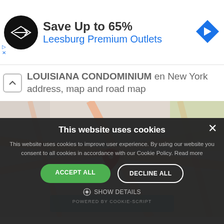[Figure (infographic): Advertisement banner: black circular logo with diamond/arrow shape, text 'Save Up to 65%' and 'Leesburg Premium Outlets' in blue, blue diamond navigation icon on right]
LOUISIANA CONDOMINIUM en New York address, map and road map
[Figure (map): Blurred street map with red location pin marker and a teal/blue button overlay at bottom]
This website uses cookies
This website uses cookies to improve user experience. By using our website you consent to all cookies in accordance with our Cookie Policy. Read more
ACCEPT ALL
DECLINE ALL
SHOW DETAILS
POWERED BY COOKIE-SCRIPT